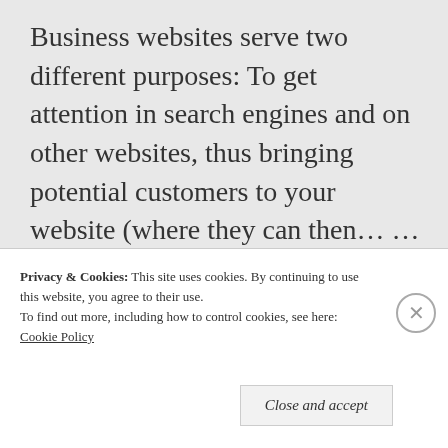Business websites serve two different purposes: To get attention in search engines and on other websites, thus bringing potential customers to your website (where they can then… … More
[Figure (screenshot): Icon bar with speech bubble and chain link icons on grey background]
Privacy & Cookies: This site uses cookies. By continuing to use this website, you agree to their use.
To find out more, including how to control cookies, see here: Cookie Policy
Close and accept